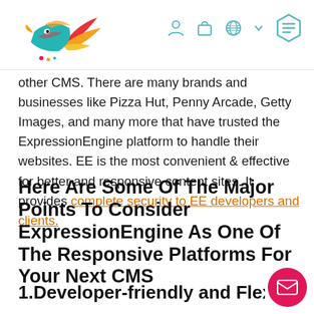[Figure (logo): Colorful bird/dove logo with teal, orange, yellow, and pink colors]
other CMS. There are many brands and businesses like Pizza Hut, Penny Arcade, Getty Images, and many more that have trusted the ExpressionEngine platform to handle their websites. EE is the most convenient & effective for better and responsive content sites. It provides complete security to EE developers and clients.
Here Are Some Of The Major Points To Consider ExpressionEngine As One Of The Responsive Platforms For Your Next CMS
1.Developer-friendly and Flexib…